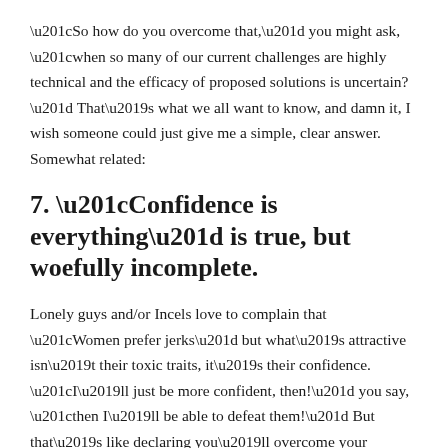“So how do you overcome that,” you might ask, “when so many of our current challenges are highly technical and the efficacy of proposed solutions is uncertain?” That’s what we all want to know, and damn it, I wish someone could just give me a simple, clear answer. Somewhat related:
7. “Confidence is everything” is true, but woefully incomplete.
Lonely guys and/or Incels love to complain that “Women prefer jerks” but what’s attractive isn’t their toxic traits, it’s their confidence. “I’ll just be more confident, then!” you say, “then I’ll be able to defeat them!” But that’s like declaring you’ll overcome your poverty by not being poor anymore, it’s not as simple as just deciding to do it. Just like money, the confidence